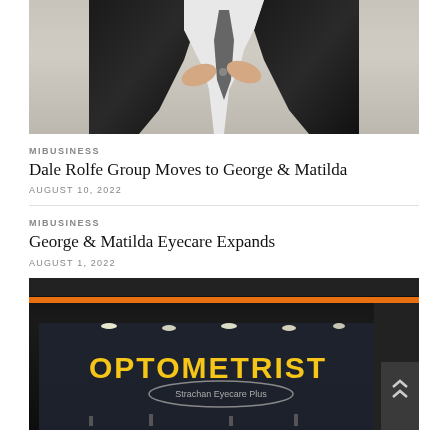[Figure (photo): Man in black suit buttoning jacket, cropped at chest level, light grey background]
MIBUSINESS
Dale Rolfe Group Moves to George & Matilda
AUGUST 10, 2022
MIBUSINESS
George & Matilda Eyecare Expands
AUGUST 1, 2022
[Figure (photo): Optometrist store front at night with orange accent lighting and yellow OPTOMETRIST sign, Strachan Eyecare Plus branding visible]